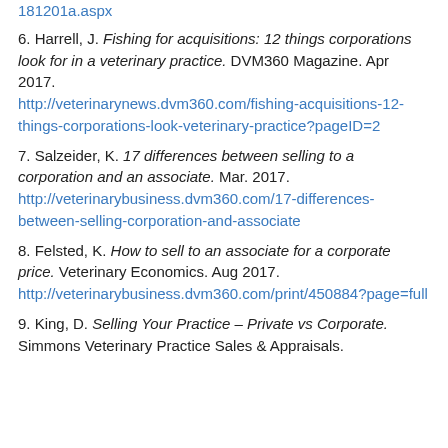181201a.aspx
6. Harrell, J. Fishing for acquisitions: 12 things corporations look for in a veterinary practice. DVM360 Magazine. Apr 2017. http://veterinarynews.dvm360.com/fishing-acquisitions-12-things-corporations-look-veterinary-practice?pageID=2
7. Salzeider, K. 17 differences between selling to a corporation and an associate. Mar. 2017. http://veterinarybusiness.dvm360.com/17-differences-between-selling-corporation-and-associate
8. Felsted, K. How to sell to an associate for a corporate price. Veterinary Economics. Aug 2017. http://veterinarybusiness.dvm360.com/print/450884?page=full
9. King, D. Selling Your Practice – Private vs Corporate. Simmons Veterinary Practice Sales & Appraisals.